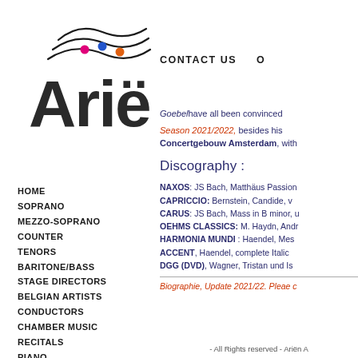[Figure (logo): Arien logo with stylized wave lines and colored dots above the text]
HOME
SOPRANO
MEZZO-SOPRANO
COUNTER
TENORS
BARITONE/BASS
STAGE DIRECTORS
BELGIAN ARTISTS
CONDUCTORS
CHAMBER MUSIC
RECITALS
PIANO
STRINGS
WINDS
AUDITIONS
CONTACT US   O
Goebel have all been convinced
Season 2021/2022, besides his Concertgebouw Amsterdam, with
Discography :
NAXOS: JS Bach, Matthäus Passion
CAPRICCIO: Bernstein, Candide, v
CARUS: JS Bach, Mass in B minor, u
OEHMS CLASSICS: M. Haydn, Andr
HARMONIA MUNDI : Haendel, Mes
ACCENT, Haendel, complete Italic
DGG (DVD), Wagner, Tristan und Is
Biographie, Update 2021/22. Pleae c
- All Rights reserved - Ariën A